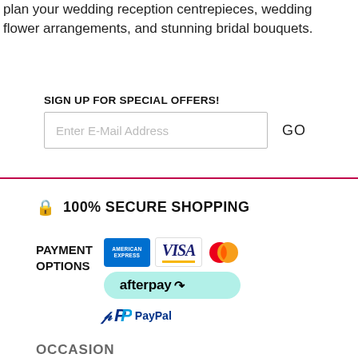plan your wedding reception centrepieces, wedding flower arrangements, and stunning bridal bouquets.
SIGN UP FOR SPECIAL OFFERS!
Enter E-Mail Address
GO
[Figure (infographic): 100% SECURE SHOPPING label with lock icon]
[Figure (infographic): Payment options: American Express, Visa, Mastercard, Afterpay, PayPal]
OCCASION